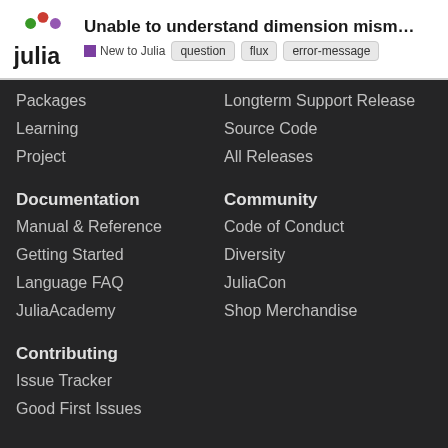Unable to understand dimension mismatch er... | New to Julia | question | flux | error-message
Packages
Longterm Support Release
Learning
Source Code
Project
All Releases
Documentation
Community
Manual & Reference
Code of Conduct
Getting Started
Diversity
Language FAQ
JuliaCon
JuliaAcademy
Shop Merchandise
Contributing
Issue Tracker
Good First Issues